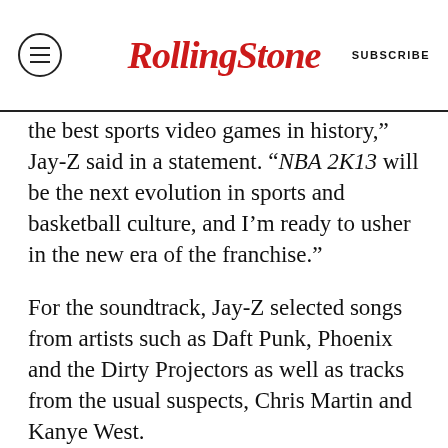RollingStone | SUBSCRIBE
the best sports video games in history," Jay-Z said in a statement. "NBA 2K13 will be the next evolution in sports and basketball culture, and I'm ready to usher in the new era of the franchise."
For the soundtrack, Jay-Z selected songs from artists such as Daft Punk, Phoenix and the Dirty Projectors as well as tracks from the usual suspects, Chris Martin and Kanye West.
“The NBA is more than just a game,” 2K Sports VP of marketing Jason Argent told Rolling Stone. “It’s music, culture and celebrity and we wanted to inject that into our game and bring it to another level.”
2K Sports asked for Jay-Z’s involvement after